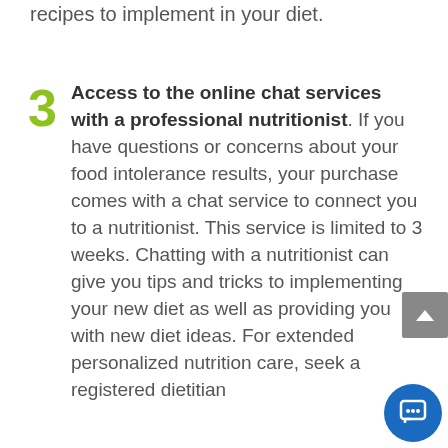recipes to implement in your diet.
3. Access to the online chat services with a professional nutritionist. If you have questions or concerns about your food intolerance results, your purchase comes with a chat service to connect you to a nutritionist. This service is limited to 3 weeks. Chatting with a nutritionist can give you tips and tricks to implementing your new diet as well as providing you with new diet ideas. For extended personalized nutrition care, seek a registered dietitian